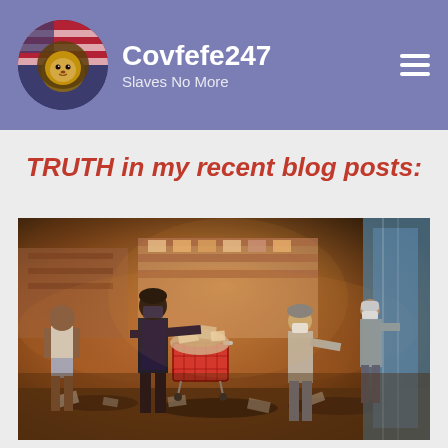Covfefe247 Slaves No More
TRUTH in my recent blog posts:
[Figure (photo): Photo of people inside a damaged retail store (Target), with a red shopping cart overflowing with merchandise, debris on the floor, and several individuals wearing masks.]